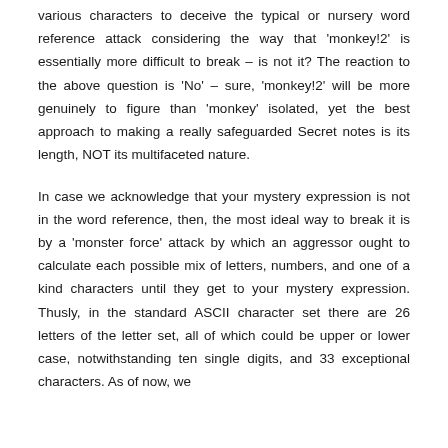various characters to deceive the typical or nursery word reference attack considering the way that 'monkey!2' is essentially more difficult to break – is not it? The reaction to the above question is 'No' – sure, 'monkey!2' will be more genuinely to figure than 'monkey' isolated, yet the best approach to making a really safeguarded Secret notes is its length, NOT its multifaceted nature.
In case we acknowledge that your mystery expression is not in the word reference, then, the most ideal way to break it is by a 'monster force' attack by which an aggressor ought to calculate each possible mix of letters, numbers, and one of a kind characters until they get to your mystery expression. Thusly, in the standard ASCII character set there are 26 letters of the letter set, all of which could be upper or lower case, notwithstanding ten single digits, and 33 exceptional characters. As of now, we